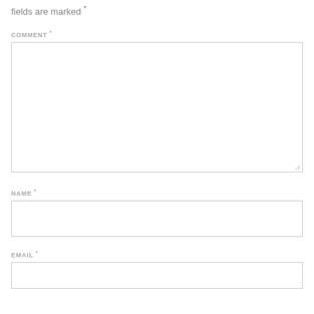fields are marked *
COMMENT *
[Figure (other): Large empty textarea form field for comment input]
NAME *
[Figure (other): Single-line text input form field for name]
EMAIL *
[Figure (other): Single-line text input form field for email]